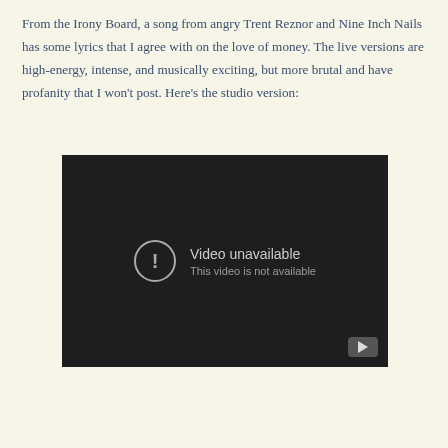From the Irony Board, a song from angry Trent Reznor and Nine Inch Nails has some lyrics that I agree with on the love of money. The live versions are high-energy, intense, and musically exciting, but more brutal and have profanity that I won't post. Here's the studio version:
[Figure (screenshot): Embedded YouTube video player showing 'Video unavailable - This video is not available' error message on a dark background, with YouTube logo icon in the bottom right corner.]